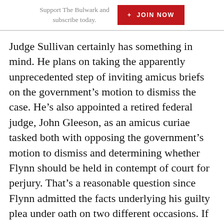Support The Bulwark and subscribe today.   + JOIN NOW
Judge Sullivan certainly has something in mind. He plans on taking the apparently unprecedented step of inviting amicus briefs on the government’s motion to dismiss the case. He’s also appointed a retired federal judge, John Gleeson, as an amicus curiae tasked both with opposing the government’s motion to dismiss and determining whether Flynn should be held in contempt of court for perjury. That’s a reasonable question since Flynn admitted the facts underlying his guilty plea under oath on two different occasions. If the attorney general thought he was making the Flynn case go away, he definitely miscalculated